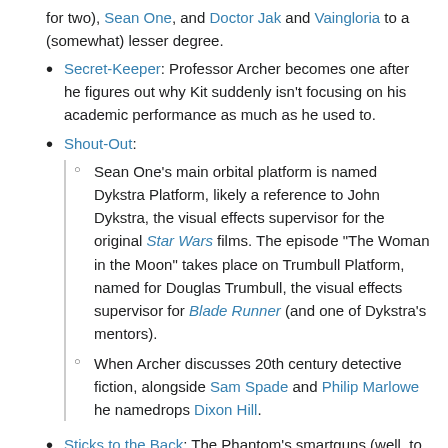for two), Sean One, and Doctor Jak and Vaingloria to a (somewhat) lesser degree.
Secret-Keeper: Professor Archer becomes one after he figures out why Kit suddenly isn't focusing on his academic performance as much as he used to.
Shout-Out:
Sean One's main orbital platform is named Dykstra Platform, likely a reference to John Dykstra, the visual effects supervisor for the original Star Wars films. The episode "The Woman in the Moon" takes place on Trumbull Platform, named for Douglas Trumbull, the visual effects supervisor for Blade Runner (and one of Dykstra's mentors).
When Archer discusses 20th century detective fiction, alongside Sam Spade and Philip Marlowe he namedrops Dixon Hill.
Sticks to the Back: The Phantom's smartguns (well, to his hips, anyway).